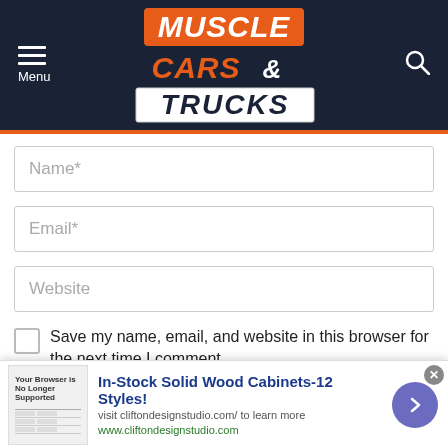[Figure (logo): Muscle Cars & Trucks website logo on dark navy background with menu and search icons]
Name*
Email*
Website
Save my name, email, and website in this browser for the next time I comment.
Heck yeah, sign me up for the daily MC&T 10-Second Newslett...
[Figure (screenshot): Ad banner: In-Stock Solid Wood Cabinets-12 Styles! visit cliftondesignstudio.com/ to learn more. www.cliftondesignstudio.com]